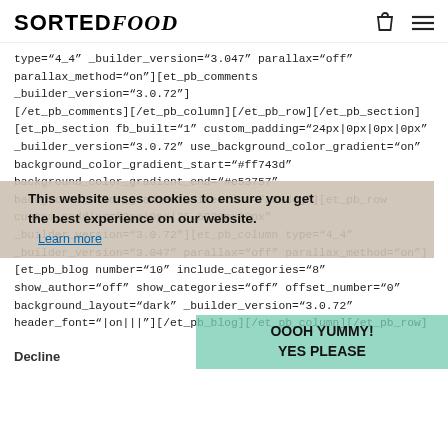SORTED FOOD (logo with shopping bag and menu icons)
type="4_4" _builder_version="3.047" parallax="off" parallax_method="on"][et_pb_comments _builder_version="3.0.72"] [/et_pb_comments][/et_pb_column][/et_pb_row][/et_pb_section] [et_pb_section fb_built="1" custom_padding="24px|0px|0px|0px" _builder_version="3.0.72" use_background_color_gradient="on" background_color_gradient_start="#ff743d" background_color_gradient_end="#e53757" background_color_gradient_direction="250deg"][et_pb_row custom_padding="3px|0px|25.5938px|0px" _builder_version="3.0.72"][et_pb_column type="4_4" _builder_version="3.047" parallax="off" parallax_method="on"] [et_pb_blog number="10" include_categories="8" show_author="off" show_categories="off" offset_number="0" background_layout="dark" _builder_version="3.0.72" header_font="|on|||"][/et_pb_blog][/et_pb_column][/et_pb_row]
This website uses cookies to ensure you get the best experience on our website. Learn more
OOOH YUMMY! YES PLEASE
Decline